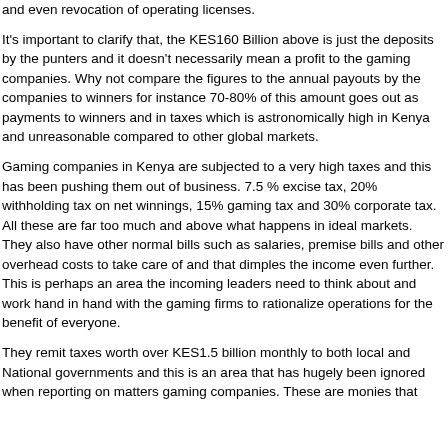and even revocation of operating licenses.
It's important to clarify that, the KES160 Billion above is just the deposits by the punters and it doesn't necessarily mean a profit to the gaming companies. Why not compare the figures to the annual payouts by the companies to winners for instance 70-80% of this amount goes out as payments to winners and in taxes which is astronomically high in Kenya and unreasonable compared to other global markets.
Gaming companies in Kenya are subjected to a very high taxes and this has been pushing them out of business. 7.5 % excise tax, 20% withholding tax on net winnings, 15% gaming tax and 30% corporate tax. All these are far too much and above what happens in ideal markets. They also have other normal bills such as salaries, premise bills and other overhead costs to take care of and that dimples the income even further. This is perhaps an area the incoming leaders need to think about and work hand in hand with the gaming firms to rationalize operations for the benefit of everyone.
They remit taxes worth over KES1.5 billion monthly to both local and National governments and this is an area that has hugely been ignored when reporting on matters gaming companies. These are monies that